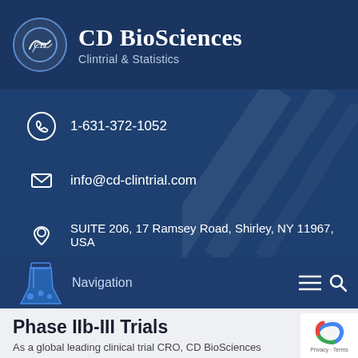CD BioSciences Clintrial & Statistics
1-631-372-1052
info@cd-clintrial.com
SUITE 206, 17 Ramsey Road, Shirley, NY 11967, USA
Navigation
Phase IIb-III Trials
As a global leading clinical trial CRO, CD BioSciences